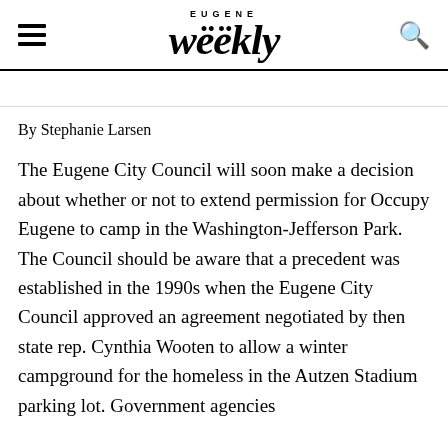EUGENE Weekly
[partial title text — cropped]
By Stephanie Larsen
The Eugene City Council will soon make a decision about whether or not to extend permission for Occupy Eugene to camp in the Washington-Jefferson Park. The Council should be aware that a precedent was established in the 1990s when the Eugene City Council approved an agreement negotiated by then state rep. Cynthia Wooten to allow a winter campground for the homeless in the Autzen Stadium parking lot. Government agencies